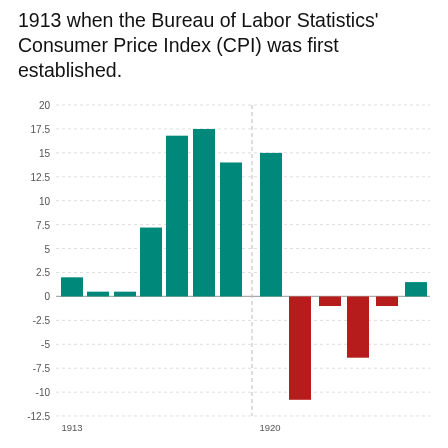1913 when the Bureau of Labor Statistics' Consumer Price Index (CPI) was first established.
[Figure (bar-chart): CPI Annual Inflation Rate]